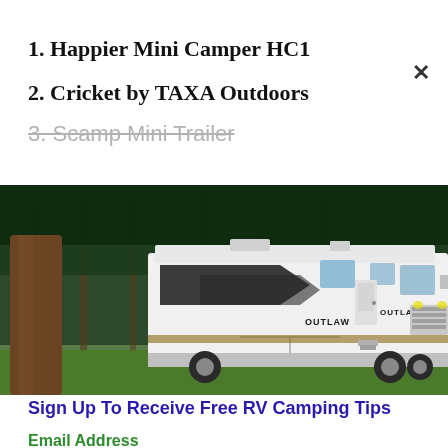1. Happier Mini Camper HC1
2. Cricket by TAXA Outdoors
3. Scamp Mini Trailer
[Figure (photo): A large white Outlaw motorhome RV parked in a wooded area with tall pine trees in the background on green grass]
Sign Up To Receive Free RV Camping Tips
Email Address